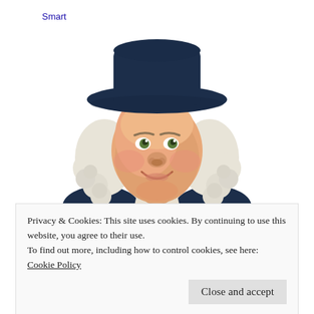Smart Bed | Search Ads
[Figure (illustration): Illustration of the Quaker Oats mascot — a friendly man with white curly hair wearing a dark navy colonial-style coat with a white cravat and a wide-brimmed dark hat, smiling slightly, shown from the chest up against a white background.]
Privacy & Cookies: This site uses cookies. By continuing to use this website, you agree to their use.
To find out more, including how to control cookies, see here: Cookie Policy
Close and accept
3 Votes